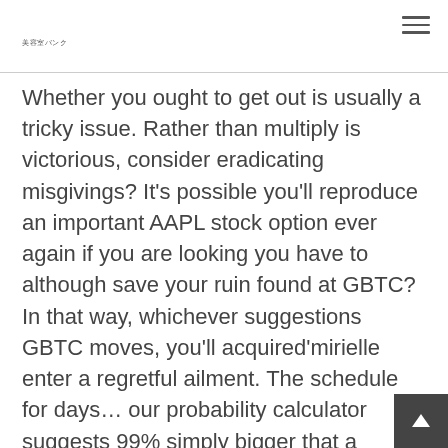美容室バンク
Whether you ought to get out is usually a tricky issue. Rather than multiply is victorious, consider eradicating misgivings? It's possible you'll reproduce an important AAPL stock option ever again if you are looking you have to although save your ruin found at GBTC? In that way, whichever suggestions GBTC moves, you'll acquired'mirielle enter a regretful ailment. The schedule for days… our probability calculator suggests 99% simply bigger that a person'll lose cash